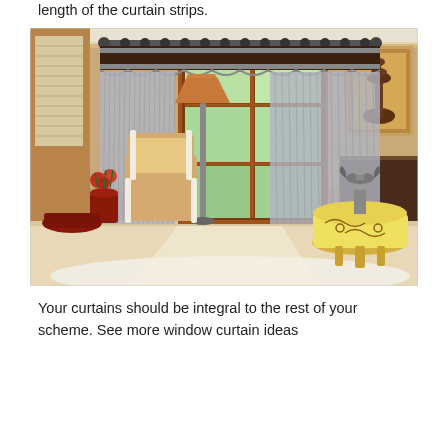length of the curtain strips.
[Figure (photo): A living room interior featuring elegant gray string curtains with dark brown and silver grommet top valance hung on a rod across a large window with wooden frame. On the left is an ornate white chair near a floor lamp with orange shade, red floral arrangement, and decorative side table. On the right is a round decorative cabinet with gold scroll designs and a trophy-like ornament on top. A framed artwork hangs on the right wall. Natural light streams through the window onto a white area rug.]
Your curtains should be integral to the rest of your scheme. See more window curtain ideas